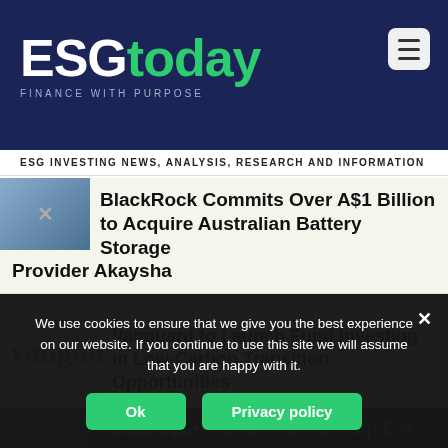ESGtoday — FINANCE WITH PURPOSE
ESG INVESTING NEWS, ANALYSIS, RESEARCH AND INFORMATION
BlackRock Commits Over A$1 Billion to Acquire Australian Battery Storage Provider Akaysha
INVESTORS /
Vanguard to Launch Fund Investing in Low-Carbon Transition Opportunities
PRIVATE EQUITY
Don't miss the top ESG stories!
We use cookies to ensure that we give you the best experience on our website. If you continue to use this site we will assume that you are happy with it.